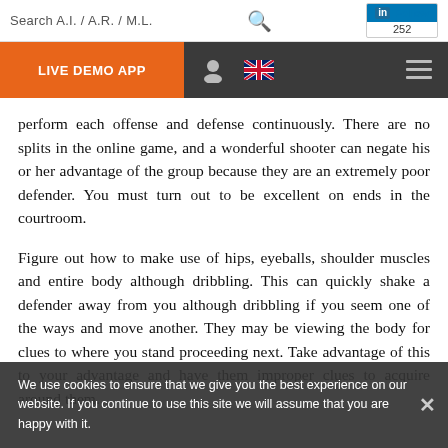Search A.I. / A.R. / M.L.
LIVE DEMO APP
perform each offense and defense continuously. There are no splits in the online game, and a wonderful shooter can negate his or her advantage of the group because they are an extremely poor defender. You must turn out to be excellent on ends in the courtroom.
Figure out how to make use of hips, eyeballs, shoulder muscles and entire body although dribbling. This can quickly shake a defender away from you although dribbling if you seem one of the ways and move another. They may be viewing the body for clues to where you stand proceeding next. Take advantage of this to your advantage and have them improper clues to acquire around them.
We use cookies to ensure that we give you the best experience on our website. If you continue to use this site we will assume that you are happy with it.